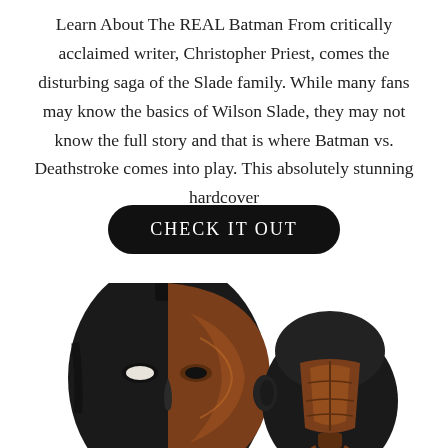Learn About The REAL Batman From critically acclaimed writer, Christopher Priest, comes the disturbing saga of the Slade family. While many fans may know the basics of Wilson Slade, they may not know the full story and that is where Batman vs. Deathstroke comes into play. This absolutely stunning hardcover
CHECK IT OUT
[Figure (photo): Two Deathstroke helmet/mask props shown side by side. Left: full face mask with black and copper/bronze two-tone design with eye slit. Right: back/side of a helmet with copper/bronze armor plates, viewed from behind.]